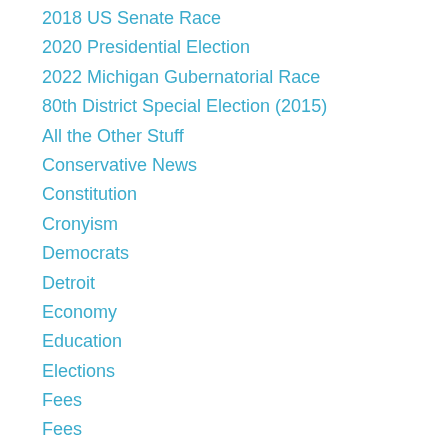2018 US Senate Race
2020 Presidential Election
2022 Michigan Gubernatorial Race
80th District Special Election (2015)
All the Other Stuff
Conservative News
Constitution
Cronyism
Democrats
Detroit
Economy
Education
Elections
Fees
Fees
Firearms
Flint Water Fiasco
Government Incompetence
Healthcare
Humor in Michigan
Immigration
Liberty
Michigan